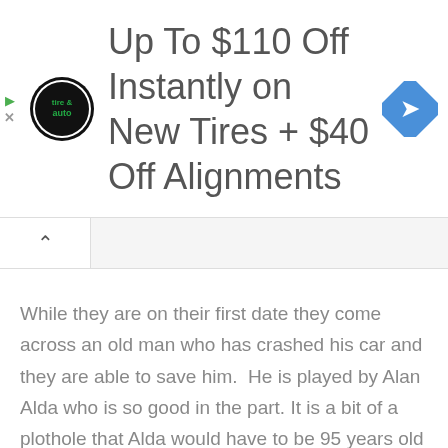[Figure (screenshot): Advertisement banner for Virginia Tire & Auto: circular logo with 'tire & auto' text, headline 'Up To $110 Off Instantly on New Tires + $40 Off Alignments', blue diamond navigation arrow icon on right, play and X icons on far left]
While they are on their first date they come across an old man who has crashed his car and they are able to save him.  He is played by Alan Alda who is so good in the part. It is a bit of a plothole that Alda would have to be 95 years old to be the character in the flashbacks but I will give it that.